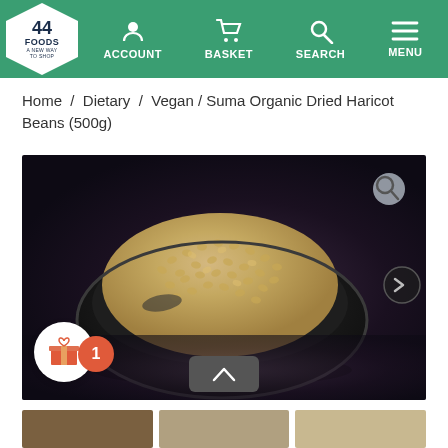[Figure (screenshot): 44 Foods website navigation bar with logo, Account, Basket, Search, and Menu icons on a green background]
Home / Dietary / Vegan / Suma Organic Dried Haricot Beans (500g)
[Figure (photo): Product photo of dried haricot beans in a dark oval bowl on a dark textured background]